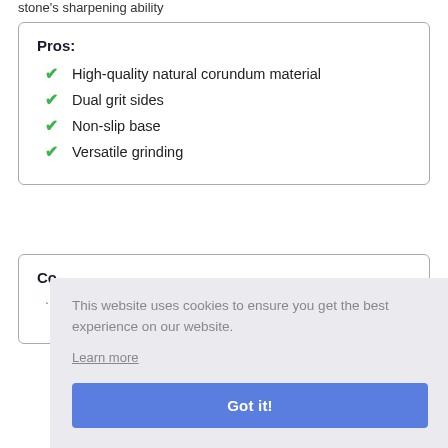stone's sharpening ability
Pros:
High-quality natural corundum material
Dual grit sides
Non-slip base
Versatile grinding
Co
This website uses cookies to ensure you get the best experience on our website.
Learn more
Got it!